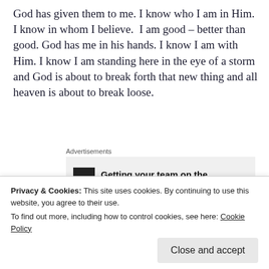God has given them to me. I know who I am in Him. I know in whom I believe. I am good – better than good. God has me in his hands. I know I am with Him. I know I am standing here in the eye of a storm and God is about to break forth that new thing and all heaven is about to break loose.
[Figure (screenshot): Advertisement block with label 'Advertisements' and partial ad content showing a black icon and bold text 'Getting your team on the']
I am in new territory. I am a little lost. I feel like I can't see. Last night a man of God went live on his social media
Privacy & Cookies: This site uses cookies. By continuing to use this website, you agree to their use.
To find out more, including how to control cookies, see here: Cookie Policy
His lesson was about going deeper with God and deeper